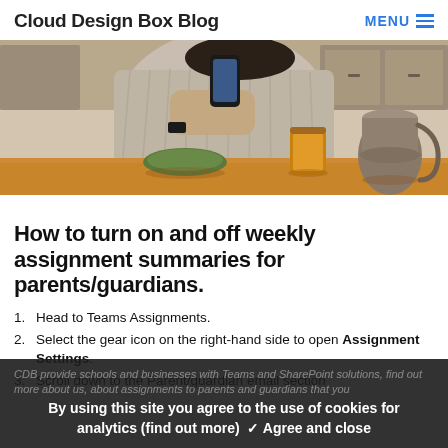Cloud Design Box Blog   MENU
[Figure (photo): Person sitting at a wooden table holding a smartphone, with a plate, honey jar, and metal pitcher visible on the table. Kitchen setting in background.]
How to turn on and off weekly assignment summaries for parents/guardians.
1. Head to Teams Assignments.
2. Select the gear icon on the right-hand side to open Assignment Settings.
3. Scroll down to the Parent/guardian email section and assignments to parents and guardians that you
CDB provide schools and businesses with Teams and SharePoint solutions, find out more about us, about assignments to parents and guardians that you
By using this site you agree to the use of cookies for analytics (find out more) ✓ Agree and close